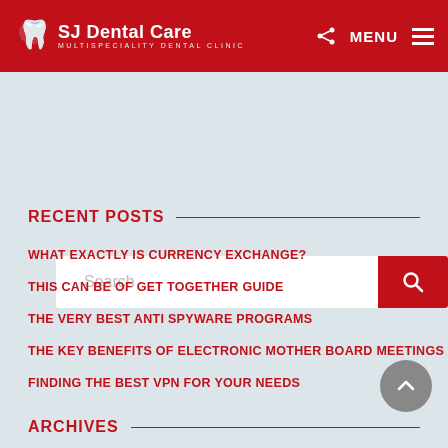SJ Dental Care — MULTISPECIALITY DENTAL CLINIC
[Figure (screenshot): Search bar with red search button and magnifying glass icon]
RECENT POSTS
WHAT EXACTLY IS CURRENCY EXCHANGE?
THIS CAN BE OF GET TOGETHER GUIDE
THE VERY BEST ANTI SPYWARE PROGRAMS
THE KEY BENEFITS OF ELECTRONIC MOTHER BOARD MEETINGS
FINDING THE BEST VPN FOR YOUR NEEDS
ARCHIVES